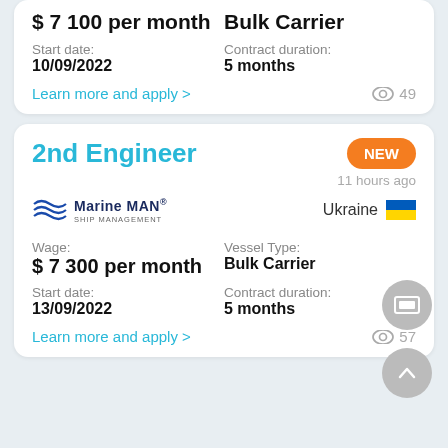$ 7 100 per month
Bulk Carrier
Start date:
10/09/2022
Contract duration:
5 months
Learn more and apply >
49
2nd Engineer
NEW
11 hours ago
[Figure (logo): Marine MAN Ship Management company logo with wave symbol]
Ukraine
Wage:
$ 7 300 per month
Vessel Type:
Bulk Carrier
Start date:
13/09/2022
Contract duration:
5 months
Learn more and apply >
57